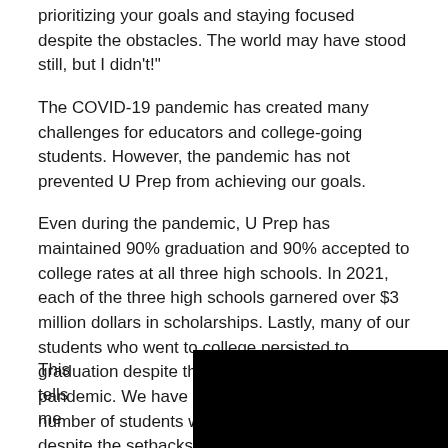prioritizing your goals and staying focused despite the obstacles. The world may have stood still, but I didn't!"
The COVID-19 pandemic has created many challenges for educators and college-going students. However, the pandemic has not prevented U Prep from achieving our goals.
Even during the pandemic, U Prep has maintained 90% graduation and 90% accepted to college rates at all three high schools. In 2021, each of the three high schools garnered over $3 million dollars in scholarships. Lastly, many of our students who went to college persisted to graduation despite the setbacks caused by the pandemic. We have not seen a decline in the number of students who persist in college despite the setbacks caused by the pandemic.
This tells me
[Figure (photo): Black rectangle image placeholder at bottom right of page]